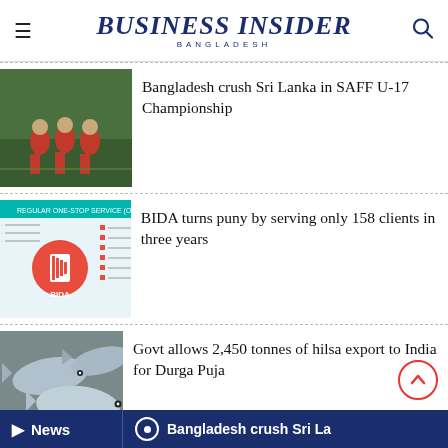BUSINESS INSIDER BANGLADESH
[Figure (photo): Football players in red jerseys on a green field]
Bangladesh crush Sri Lanka in SAFF U-17 Championship
[Figure (infographic): BIDA infographic with red circular logo and list of services]
BIDA turns puny by serving only 158 clients in three years
[Figure (photo): Fresh hilsa fish on ice]
Govt allows 2,450 tonnes of hilsa export to India for Durga Puja
[Figure (photo): President Hamid with officials in formal setting]
President Hamid seeks New Zealand's investment in livestock
News  Bangladesh crush Sri La